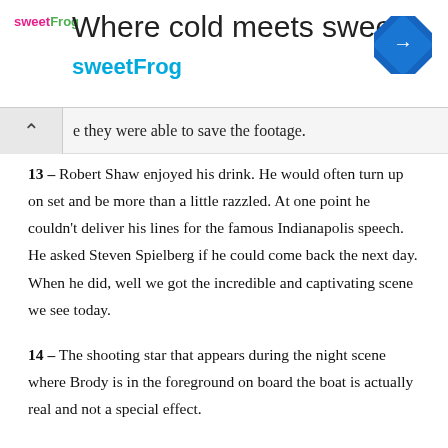[Figure (other): sweetFrog advertisement banner with logo, tagline 'Where cold meets sweet', and navigation icon]
e they were able to save the footage.
13 – Robert Shaw enjoyed his drink. He would often turn up on set and be more than a little razzled. At one point he couldn't deliver his lines for the famous Indianapolis speech. He asked Steven Spielberg if he could come back the next day. When he did, well we got the incredible and captivating scene we see today.
14 – The shooting star that appears during the night scene where Brody is in the foreground on board the boat is actually real and not a special effect.